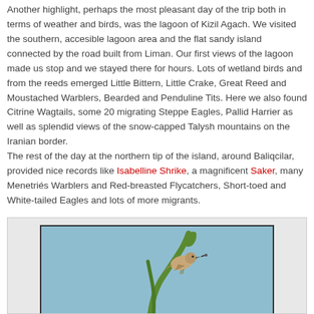Another highlight, perhaps the most pleasant day of the trip both in terms of weather and birds, was the lagoon of Kizil Agach. We visited the southern, accesible lagoon area and the flat sandy island connected by the road built from Liman. Our first views of the lagoon made us stop and we stayed there for hours. Lots of wetland birds and from the reeds emerged Little Bittern, Little Crake, Great Reed and Moustached Warblers, Bearded and Penduline Tits. Here we also found Citrine Wagtails, some 20 migrating Steppe Eagles, Pallid Harrier as well as splendid views of the snow-capped Talysh mountains on the Iranian border.
The rest of the day at the northern tip of the island, around Baliqcilar, provided nice records like Isabelline Shrike, a magnificent Saker, many Menetriés Warblers and Red-breasted Flycatchers, Short-toed and White-tailed Eagles and lots of more migrants.
[Figure (photo): A small bird perched on a curved green plant stem against a light blue sky background.]